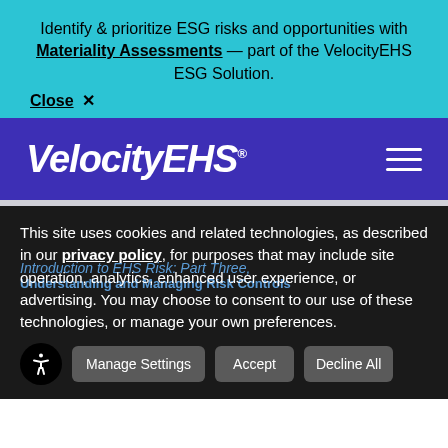Identify & prioritize ESG risks and opportunities with Materiality Assessments — part of the VelocityEHS ESG Solution.
Close X
[Figure (logo): VelocityEHS logo in white italic text on purple navigation bar with hamburger menu icon]
This site uses cookies and related technologies, as described in our privacy policy, for purposes that may include site operation, analytics, enhanced user experience, or advertising. You may choose to consent to our use of these technologies, or manage your own preferences.
Introduction to EHS Risk: Part Three, Understanding and Managing Risk Controls
Manage Settings  Accept  Decline All